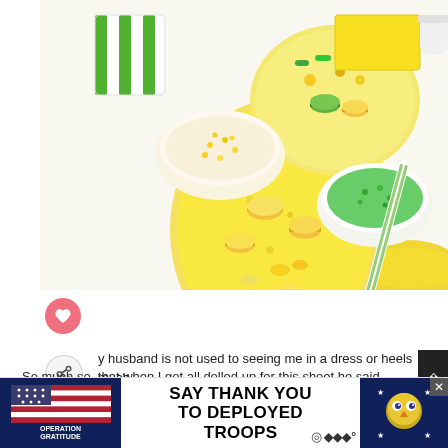[Figure (photo): Overhead flatlay photo of pineapple-shaped cookie/candy arrangement with yellow and green candies, macarons, sprinkles and decorative bowls on white background]
y husband is not used to seeing me in a dress or heels much. So much so, that when I got all dolled up for this shoot he said
a beautiful princess in your studio today!"
I blushed (who knew you could blush after 11 years of mariage?!)
[Figure (infographic): Advertisement banner: SAY THANK YOU TO DEPLOYED TROOPS - Operation Gratitude with American flag logo and cartoon character]